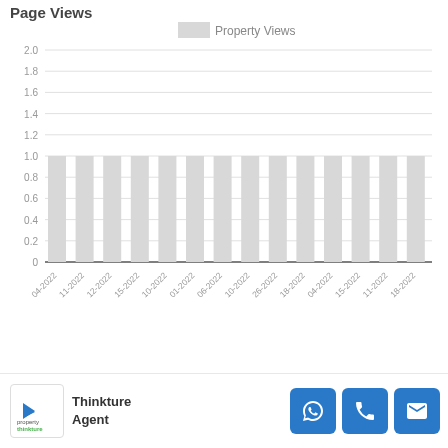Page Views
[Figure (bar-chart): Property Views]
Thinkture Agent